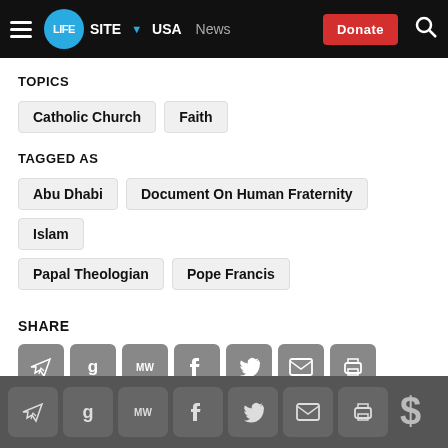LifeSite • USA • News • Donate
TOPICS
Catholic Church
Faith
TAGGED AS
Abu Dhabi
Document On Human Fraternity
Islam
Papal Theologian
Pope Francis
SHARE
[Figure (screenshot): Row of social sharing icon buttons: Telegram, Gab, MeWe, Facebook, Twitter, Email, Print]